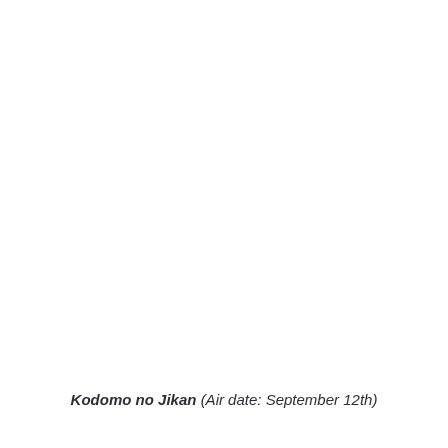Kodomo no Jikan (Air date: September 12th)